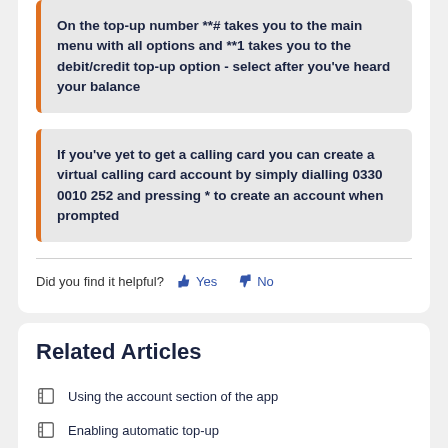On the top-up number **# takes you to the main menu with all options and **1 takes you to the debit/credit top-up option - select after you've heard your balance
If you've yet to get a calling card you can create a virtual calling card account by simply dialling 0330 0010 252 and pressing * to create an account when prompted
Did you find it helpful? Yes No
Related Articles
Using the account section of the app
Enabling automatic top-up